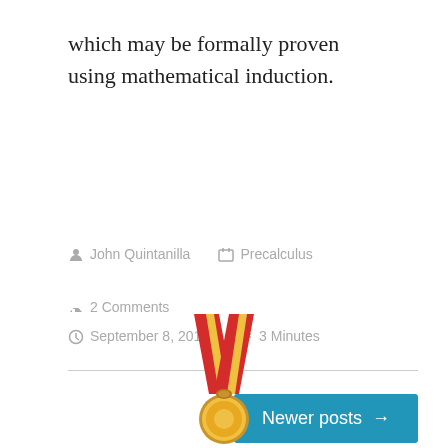which may be formally proven using mathematical induction.
John Quintanilla  Precalculus  2 Comments  September 8, 2013  3 Minutes
Newer posts →
[Figure (illustration): A gold medal with red and yellow ribbon, partially visible at the bottom of the page.]